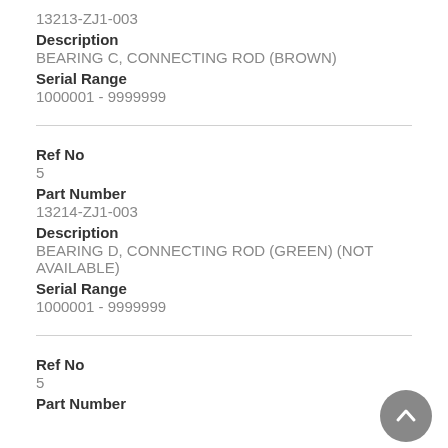13213-ZJ1-003
Description
BEARING C, CONNECTING ROD (BROWN)
Serial Range
1000001 - 9999999
Ref No
5
Part Number
13214-ZJ1-003
Description
BEARING D, CONNECTING ROD (GREEN) (NOT AVAILABLE)
Serial Range
1000001 - 9999999
Ref No
5
Part Number